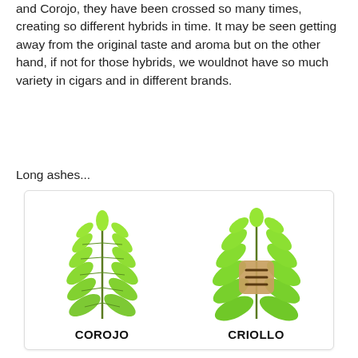and Corojo, they have been crossed so many times, creating so different hybrids in time. It may be seen getting away from the original taste and aroma but on the other hand, if not for those hybrids, we wouldnot have so much variety in cigars and in different brands.
Long ashes...
[Figure (illustration): Two tobacco leaf plants side by side in a white rounded box. Left plant labeled COROJO (tall, feathery green leaves). Right plant labeled CRIOLLO (broader green leaves with a tan/brown menu icon overlay). Labels are bold black text below each plant.]